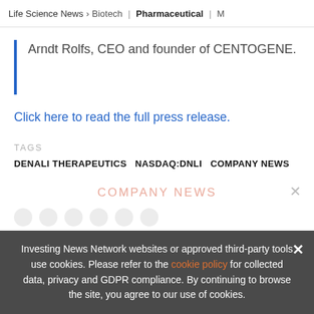Life Science News > Biotech | Pharmaceutical | M
Arndt Rolfs, CEO and founder of CENTOGENE.
Click here to read the full press release.
TAGS
DENALI THERAPEUTICS  NASDAQ:DNLI  COMPANY NEWS
COMPANY NEWS
Investing News Network websites or approved third-party tools use cookies. Please refer to the cookie policy for collected data, privacy and GDPR compliance. By continuing to browse the site, you agree to our use of cookies.